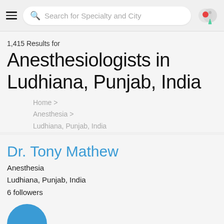Search for Specialty and City
1,415 Results for
Anesthesiologists in Ludhiana, Punjab, India
Home >
Anesthesia >
Ludhiana, Punjab, India
Dr. Tony Mathew
Anesthesia
Ludhiana, Punjab, India
6 followers